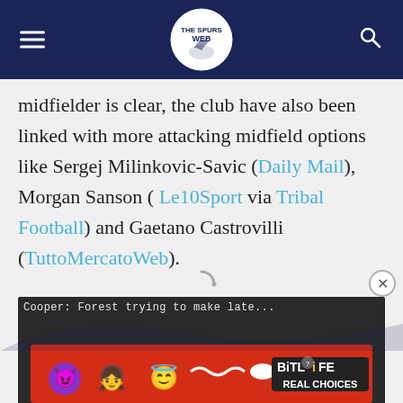The Spurs Web
midfielder is clear, the club have also been linked with more attacking midfield options like Sergej Milinkovic-Savic (Daily Mail), Morgan Sanson ( Le10Sport via Tribal Football) and Gaetano Castrovilli (TuttoMercatoWeb).
[Figure (screenshot): Video player with dark background showing loading spinner and caption 'Cooper: Forest trying to make late...']
[Figure (advertisement): BitLife Real Choices advertisement banner with colorful emoji characters on red background]